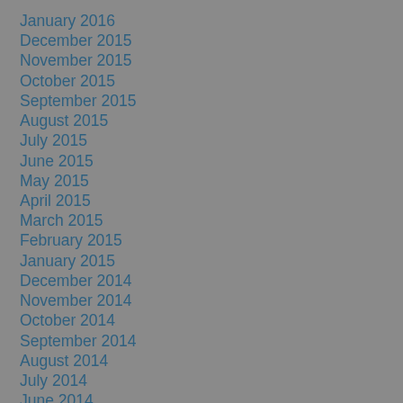January 2016
December 2015
November 2015
October 2015
September 2015
August 2015
July 2015
June 2015
May 2015
April 2015
March 2015
February 2015
January 2015
December 2014
November 2014
October 2014
September 2014
August 2014
July 2014
June 2014